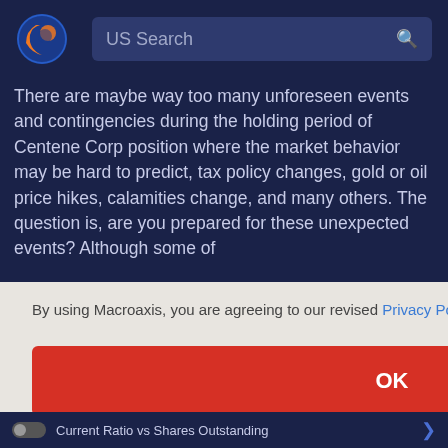[Figure (logo): Macroaxis globe logo — orange and blue circular icon]
US Search
There are maybe way too many unforeseen events and contingencies during the holding period of Centene Corp position where the market behavior may be hard to predict, tax policy changes, gold or oil price hikes, calamities change, and many others. The question is, are you prepared for these unexpected events? Although some of
By using Macroaxis, you are agreeing to our revised Privacy Policy
OK
Current Ratio vs Shares Outstanding